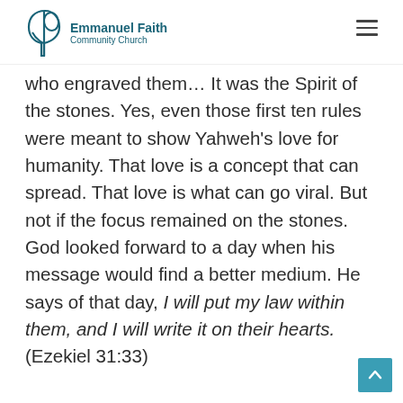Emmanuel Faith Community Church
who engraved them… It was the Spirit of the stones. Yes, even those first ten rules were meant to show Yahweh's love for humanity. That love is a concept that can spread. That love is what can go viral. But not if the focus remained on the stones. God looked forward to a day when his message would find a better medium. He says of that day, I will put my law within them, and I will write it on their hearts. (Ezekiel 31:33)